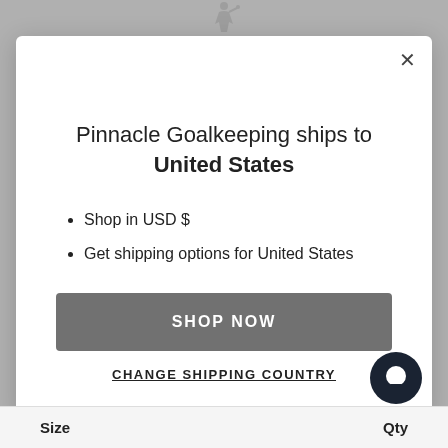Pinnacle Goalkeeping ships to United States
Shop in USD $
Get shipping options for United States
SHOP NOW
CHANGE SHIPPING COUNTRY
Size
Qty